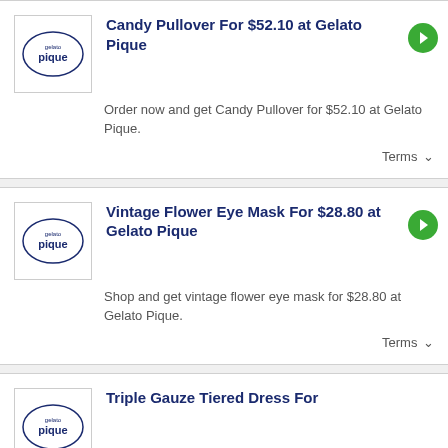[Figure (logo): Gelato Pique logo — oval with 'gelato pique' text inside]
Candy Pullover For $52.10 at Gelato Pique
Order now and get Candy Pullover for $52.10 at Gelato Pique.
Terms ∨
[Figure (logo): Gelato Pique logo — oval with 'gelato pique' text inside]
Vintage Flower Eye Mask For $28.80 at Gelato Pique
Shop and get vintage flower eye mask for $28.80 at Gelato Pique.
Terms ∨
[Figure (logo): Gelato Pique logo — oval with 'gelato pique' text inside]
Triple Gauze Tiered Dress For